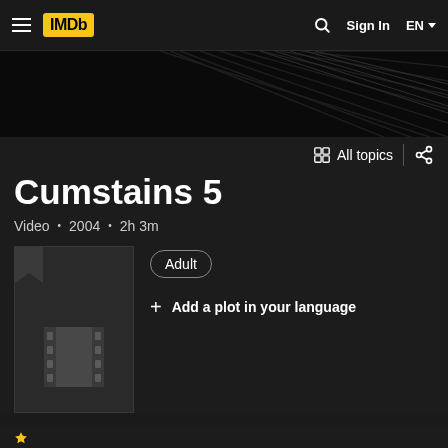IMDb  Sign In  EN
[Figure (screenshot): Black banner with diagonal light stripe pattern]
All topics
Cumstains 5
Video · 2004 · 2h 3m
[Figure (illustration): Movie poster placeholder with + icon and film strip icon]
Adult
+ Add a plot in your language